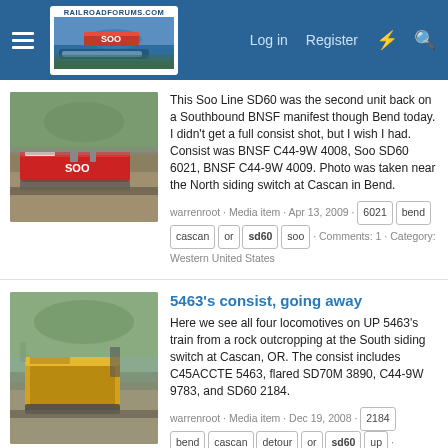RailroadForums.com — Log in  Register
[Figure (photo): Thumbnail photo of a Soo Line locomotive (red and white, labeled SOO) on tracks with gravel and trees in background]
This Soo Line SD60 was the second unit back on a Southbound BNSF manifest though Bend today. I didn't get a full consist shot, but I wish I had. Consist was BNSF C44-9W 4008, Soo SD60 6021, BNSF C44-9W 4009. Photo was taken near the North siding switch at Cascan in Bend.
warrenroot · Media item · Apr 13, 2009 · 6021  bend  cascan  or  sd60  soo · Comments: 1 · Category: Western United States
5463's consist, going away
[Figure (photo): Thumbnail photo of yellow Union Pacific locomotives going away on a curve through a rocky, forested area]
Here we see all four locomotives on UP 5463's train from a rock outcropping at the South siding switch at Cascan, OR. The consist includes C45ACCTE 5463, flared SD70M 3890, C44-9W 9783, and SD60 2184.
warrenroot · Media item · Dec 19, 2008 · 2184  bend  cascan  detour  or  sd60  up · Comments: 0 · Category: Union Pacific